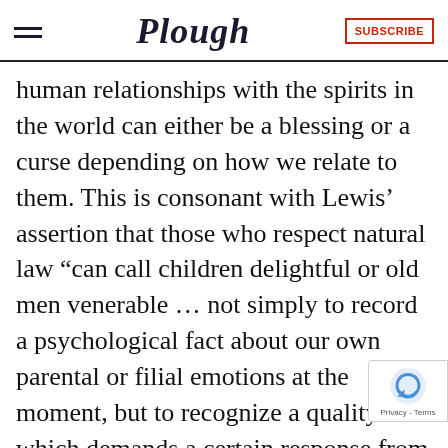Plough | SUBSCRIBE
human relationships with the spirits in the world can either be a blessing or a curse depending on how we relate to them. This is consonant with Lewis’ assertion that those who respect natural law “can call children delightful or old men venerable … not simply to record a psychological fact about our own parental or filial emotions at the moment, but to recognize a quality which demands a certain response from us whether we make it or not.”